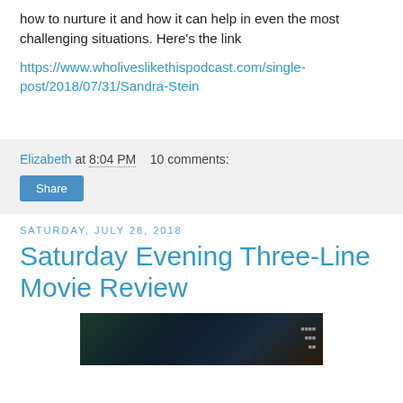how to nurture it and how it can help in even the most challenging situations. Here's the link
https://www.wholiveslikethispodcast.com/single-post/2018/07/31/Sandra-Stein
Elizabeth at 8:04 PM   10 comments:
Share
Saturday, July 28, 2018
Saturday Evening Three-Line Movie Review
[Figure (photo): Dark screenshot of a movie or TV screen]